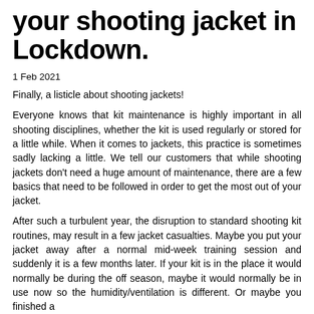your shooting jacket in Lockdown.
1 Feb 2021
Finally, a listicle about shooting jackets!
Everyone knows that kit maintenance is highly important in all shooting disciplines, whether the kit is used regularly or stored for a little while. When it comes to jackets, this practice is sometimes sadly lacking a little. We tell our customers that while shooting jackets don't need a huge amount of maintenance, there are a few basics that need to be followed in order to get the most out of your jacket.
After such a turbulent year, the disruption to standard shooting kit routines, may result in a few jacket casualties. Maybe you put your jacket away after a normal mid-week training session and suddenly it is a few months later. If your kit is in the place it would normally be during the off season, maybe it would normally be in use now so the humidity/ventilation is different. Or maybe you finished a...